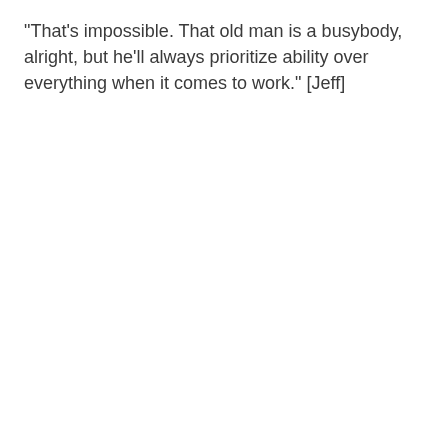"That's impossible. That old man is a busybody, alright, but he'll always prioritize ability over everything when it comes to work." [Jeff]